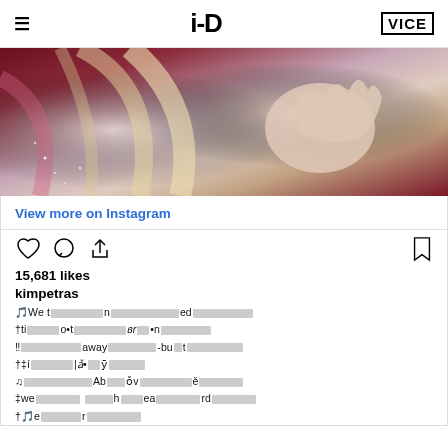i-D | VICE
[Figure (photo): Close-up photo of blonde and pink hair with a hand with decorated nails, glitter and dark red background]
View more on Instagram
[Figure (other): Instagram action icons: heart, comment, share, bookmark]
15,681 likes
kimpetras
Instagram caption with partially redacted/encoded text